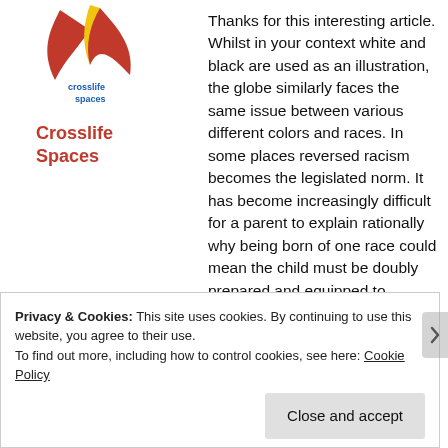[Figure (logo): Crosslife Spaces logo with stylized bird/wing graphic in red and yellow]
Crosslife Spaces
Thanks for this interesting article. Whilst in your context white and black are used as an illustration, the globe similarly faces the same issue between various different colors and races. In some places reversed racism becomes the legislated norm. It has become increasingly difficult for a parent to explain rationally why being born of one race could mean the child must be doubly prepared and equipped to compete to survive from young under the all encompassing reversed discrimination.
Privacy & Cookies: This site uses cookies. By continuing to use this website, you agree to their use. To find out more, including how to control cookies, see here: Cookie Policy
Close and accept